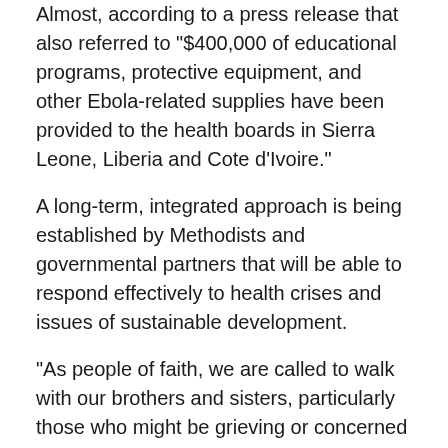Almost, according to a press release that also referred to "$400,000 of educational programs, protective equipment, and other Ebola-related supplies have been provided to the health boards in Sierra Leone, Liberia and Cote d'Ivoire."
A long-term, integrated approach is being established by Methodists and governmental partners that will be able to respond effectively to health crises and issues of sustainable development.
"As people of faith, we are called to walk with our brothers and sisters, particularly those who might be grieving or concerned for their loved ones who are at risk in their home country," said Denise Honeycutt. She leads the United Methodist Committee on Relief. "We